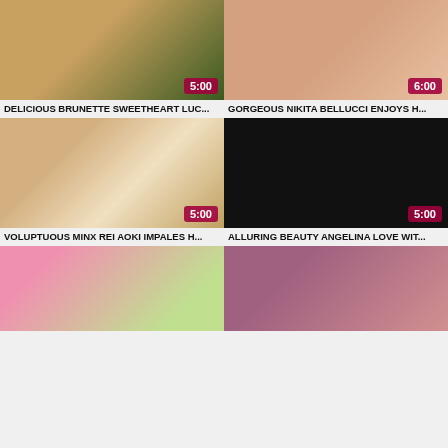[Figure (photo): Video thumbnail 1 - duration 5:00]
[Figure (photo): Video thumbnail 2 - duration 6:00]
DELICIOUS BRUNETTE SWEETHEART LUC...
GORGEOUS NIKITA BELLUCCI ENJOYS H...
[Figure (photo): Video thumbnail 3 - duration 5:00]
[Figure (photo): Video thumbnail 4 - duration 5:00]
VOLUPTUOUS MINX REI AOKI IMPALES H...
ALLURING BEAUTY ANGELINA LOVE WIT...
[Figure (photo): Video thumbnail 5 - partial]
[Figure (photo): Video thumbnail 6 - partial]